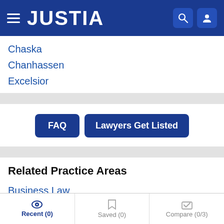JUSTIA
Chaska
Chanhassen
Excelsior
FAQ  Lawyers Get Listed
Related Practice Areas
Business Law
Intellectual Property
Trademarks
Recent (0)  Saved (0)  Compare (0/3)